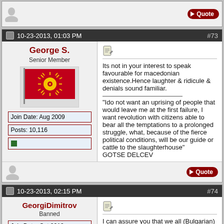[Figure (screenshot): Stub of previous forum post with quote button]
10-23-2013, 01:03 PM  #73
George S.
Senior Member
[Figure (illustration): Red flag with yellow Vergina sun]
Join Date: Aug 2009
Posts: 10,116
Its not in your interest to speak favourable for macedonian existence.Hence laughter & ridicule & denials sound familiar.
"Ido not want an uprising of people that would leave me at the first failure, I want revolution with citizens able to bear all the temptations to a prolonged struggle, what, because of the fierce political conditions, will be our guide or cattle to the slaughterhouse"
GOTSE DELCEV
10-23-2013, 02:15 PM  #74
GeorgiDimitrov
Banned
Join Date: Oct 2013
I can assure you that we all (Bulgarian) call people leaving in the Macedonian part of Bulgaria